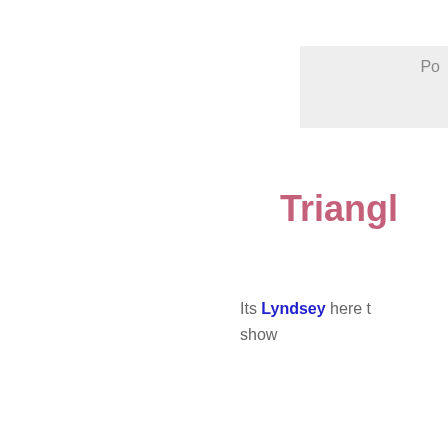Po
Triangl
Its Lyndsey here t show